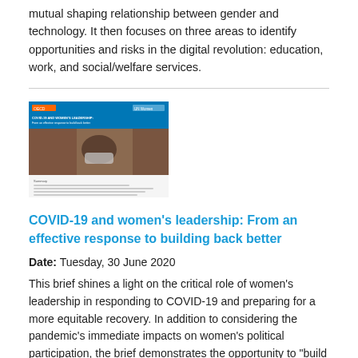mutual shaping relationship between gender and technology. It then focuses on three areas to identify opportunities and risks in the digital revolution: education, work, and social/welfare services.
[Figure (other): Thumbnail image of a report cover showing a person with a face mask and text about COVID-19 and women's leadership, with a blue header and OECD logos.]
COVID-19 and women’s leadership: From an effective response to building back better
Date: Tuesday, 30 June 2020
This brief shines a light on the critical role of women’s leadership in responding to COVID-19 and preparing for a more equitable recovery. In addition to considering the pandemic’s immediate impacts on women’s political participation, the brief demonstrates the opportunity to “build back better” by including and supporting women, and the organizations and networks that represent them, in the decision-making processes that will ultimately shape the post-pandemic future.